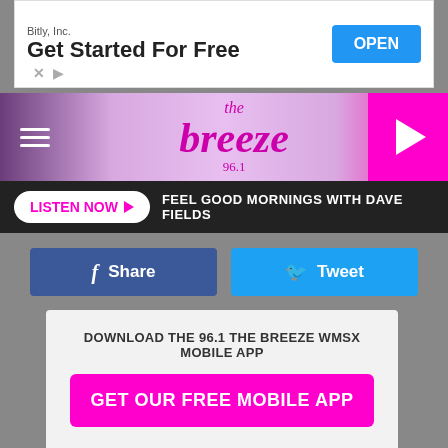[Figure (screenshot): Ad banner: Bitly, Inc. Get Started For Free with OPEN button]
[Figure (logo): The Breeze 96.1 radio station logo with navigation bar, hamburger menu, and play button]
FEEL GOOD MORNINGS WITH DAVE FIELDS
Share
Tweet
DOWNLOAD THE 96.1 THE BREEZE WMSX MOBILE APP
GET OUR FREE MOBILE APP
Also listen on:  amazon alexa